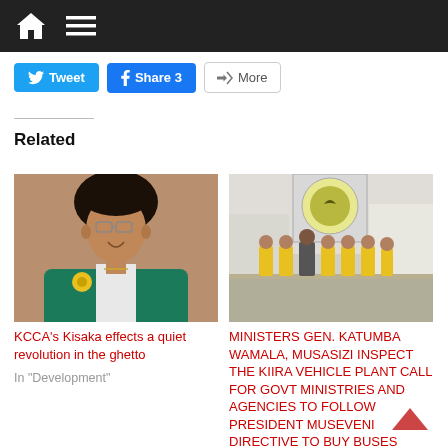Navigation bar with home icon and menu icon
Tweet | Share 3 | More
Related
[Figure (photo): Photo of a smiling woman in a green blazer with a yellow flower brooch]
KCCA's Kisaka effects a quiet revolution in the ghetto
In "Development"
[Figure (photo): Photo of a group of people in yellow safety vests standing outside the Kiira Vehicle Plant with a logo sign visible]
MINISTERS GEN. KATUMBA WAMALA, MUSASIZI INSPECT THE KIIRA VEHICLE PLANT CALL FOR GOVT MINISTRIES AND AGENCIES TO FOLLOW PRESIDENT MUSEVENI DIRECTIVE TO  BUY  BUSES FROM KIIRA